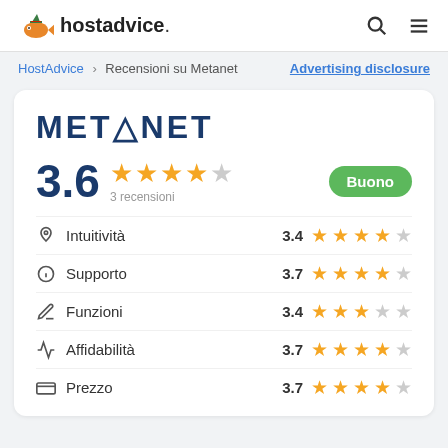hostadvice.
HostAdvice > Recensioni su Metanet   Advertising disclosure
[Figure (infographic): METANET logo in dark blue uppercase bold letters]
3.6  3 recensioni  Buono
| Categoria | Punteggio | Stelle |
| --- | --- | --- |
| Intuitività | 3.4 | ★★★½☆ |
| Supporto | 3.7 | ★★★★☆ |
| Funzioni | 3.4 | ★★★½☆ |
| Affidabilità | 3.7 | ★★★★☆ |
| Prezzo | 3.7 | ★★★★☆ |